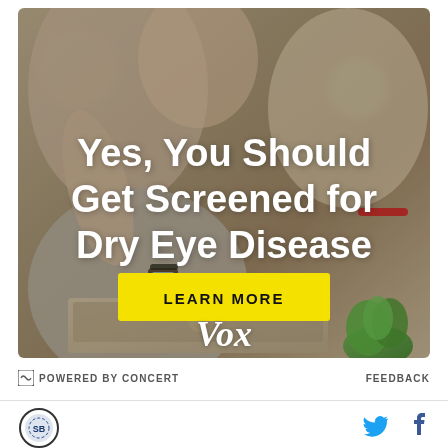[Figure (photo): Advertisement banner showing a person rubbing their eyes at a laptop, with text overlay 'Yes, You Should Get Screened for Dry Eye Disease' and a yellow 'LEARN MORE' button, branded with Vox logo]
POWERED BY CONCERT
FEEDBACK